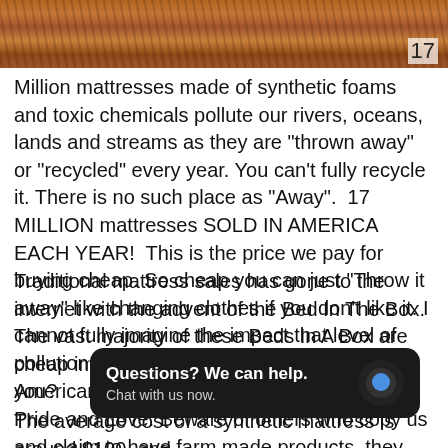[Figure (photo): Photo of dry pine needles or straw on ground, brown reddish color, with thin branches visible]
17
Million mattresses made of synthetic foams and toxic chemicals pollute our rivers, oceans, lands and streams as they are "thrown away" or "recycled" every year. You can't fully recycle it. There is no such place as "Away".  17 MILLION mattresses SOLD IN AMERICA EACH YEAR!  This is the price we pay for buying cheap. So cheap you can just "Throw it away" like changing clothes if you don't like it. I cannot fully imagine the impact that level of pollution would have on our environment. Can you?
Traditional mattress sales has gone to the internet with the advent of the Bed In The Box. The vast majority of these Beds In A Box are cheap imports. Our mattresses are an American Product and American Made with Pride and Love. Beware of others who copy us and claim to have farm made products, they are not who
[Figure (screenshot): Chat widget overlay with dark background reading 'Questions? We can help. Chat with us now.' with a blue chat bubble icon]
The average cost of a synthetic mattress is around $100. and